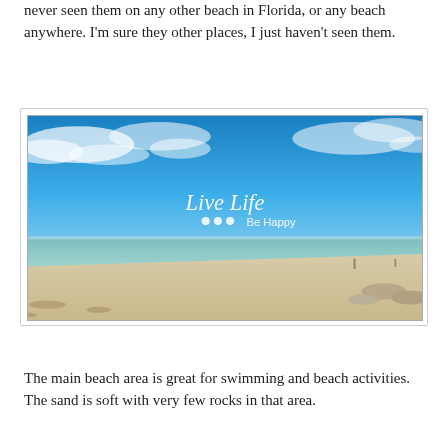never seen them on any other beach in Florida, or any beach anywhere. I'm sure they other places, I just haven't seen them.
[Figure (photo): A Florida beach scene under a bright blue sky with wispy clouds. Calm turquoise water meets a wide white sandy beach. A watermark reads 'Live Life ••• Be Happy' in white script over the sky.]
The main beach area is great for swimming and beach activities. The sand is soft with very few rocks in that area.